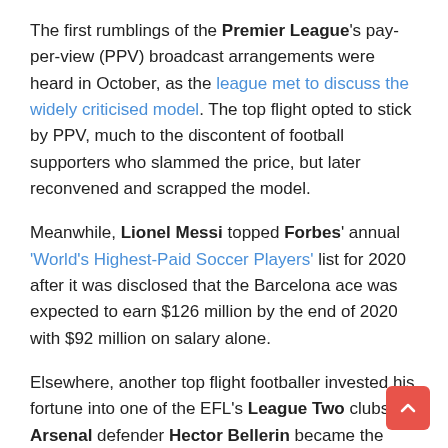The first rumblings of the Premier League's pay-per-view (PPV) broadcast arrangements were heard in October, as the league met to discuss the widely criticised model. The top flight opted to stick by PPV, much to the discontent of football supporters who slammed the price, but later reconvened and scrapped the model.
Meanwhile, Lionel Messi topped Forbes' annual 'World's Highest-Paid Soccer Players' list for 2020 after it was disclosed that the Barcelona ace was expected to earn $126 million by the end of 2020 with $92 million on salary alone.
Elsewhere, another top flight footballer invested his fortune into one of the EFL's League Two clubs. Arsenal defender Hector Bellerin became the second largest stakeholder in Forest Green Rovers, the first fully vegan and carbon-neutral sports club in the world.
A flurry of other professional athletes also dipped their toes into the expanding esports market. Real Madrid midfielder Casimiro launched his own esports team, CaseEsports, to 'lead the European esports scene', and David Beckham's Guild Esports organisation